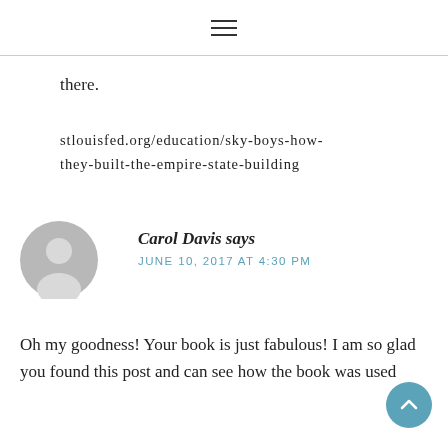≡
there.
stlouisfed.org/education/sky-boys-how-they-built-the-empire-state-building
Carol Davis says
JUNE 10, 2017 AT 4:30 PM
Oh my goodness! Your book is just fabulous! I am so glad you found this post and can see how the book was used